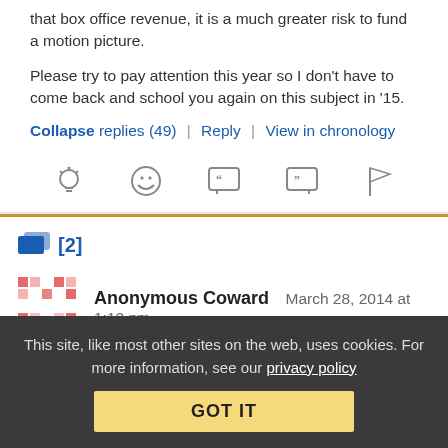that box office revenue, it is a much greater risk to fund a motion picture.
Please try to pay attention this year so I don't have to come back and school you again on this subject in '15.
Collapse replies (49) | Reply | View in chronology
[Figure (other): Row of reaction/action icons: lightbulb, laughing face, quote bubble, reply bubble, flag]
[2]
[Figure (other): Anonymous Coward avatar - red and pink pixel art pattern]
Anonymous Coward   March 28, 2014 at 1:12 pm
This site, like most other sites on the web, uses cookies. For more information, see our privacy policy GOT IT